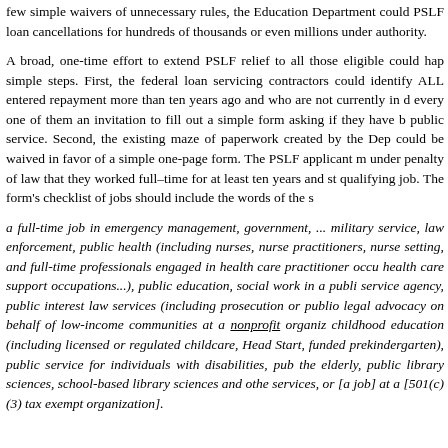few simple waivers of unnecessary rules, the Education Department could PSLF loan cancellations for hundreds of thousands or even millions under authority.
A broad, one-time effort to extend PSLF relief to all those eligible could happen in simple steps. First, the federal loan servicing contractors could identify ALL who entered repayment more than ten years ago and who are not currently in default, send every one of them an invitation to fill out a simple form asking if they have been in public service. Second, the existing maze of paperwork created by the Department could be waived in favor of a simple one-page form. The PSLF applicant must attest under penalty of law that they worked full–time for at least ten years and stayed in a qualifying job. The form's checklist of jobs should include the words of the statute:
a full-time job in emergency management, government, ... military service, law enforcement, public health (including nurses, nurse practitioners, nurse setting, and full-time professionals engaged in health care practitioner occupations, health care support occupations...), public education, social work in a public service agency, public interest law services (including prosecution or public legal advocacy on behalf of low-income communities at a nonprofit organization), early childhood education (including licensed or regulated childcare, Head Start, and state-funded prekindergarten), public service for individuals with disabilities, public service for the elderly, public library sciences, school-based library sciences and other school-based services, or [a job] at a [501(c)(3) tax exempt organization].